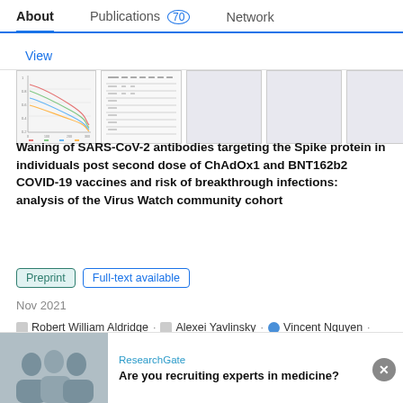About  Publications 70  Network
View
[Figure (other): Thumbnail images of publication figures: first two show actual chart/data images, remaining three are placeholder grey boxes]
Waning of SARS-CoV-2 antibodies targeting the Spike protein in individuals post second dose of ChAdOx1 and BNT162b2 COVID-19 vaccines and risk of breakthrough infections: analysis of the Virus Watch community cohort
Preprint  Full-text available
Nov 2021
Robert William Aldridge · Alexei Yavlinsky · Vincent Nguyen · [...] · Andrew C Hayward
ResearchGate
Are you recruiting experts in medicine?